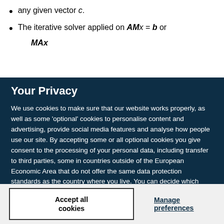any given vector c.
The iterative solver applied on AMx = b or
MAx
Your Privacy
We use cookies to make sure that our website works properly, as well as some 'optional' cookies to personalise content and advertising, provide social media features and analyse how people use our site. By accepting some or all optional cookies you give consent to the processing of your personal data, including transfer to third parties, some in countries outside of the European Economic Area that do not offer the same data protection standards as the country where you live. You can decide which optional cookies to accept by clicking on 'Manage Settings', where you can also find more information about how your personal data is processed. Further information can be found in our privacy policy.
Accept all cookies
Manage preferences